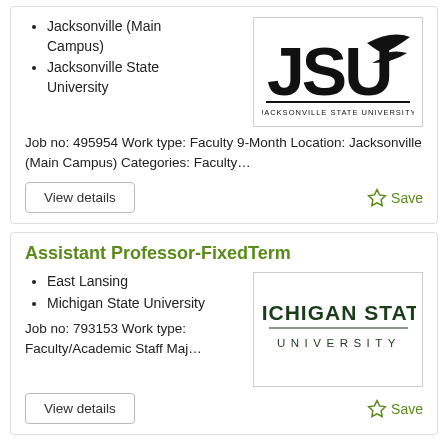Jacksonville (Main Campus)
Jacksonville State University
[Figure (logo): Jacksonville State University (JSU) logo with stylized JSU letters and eagle wing, text below reads JACKSONVILLE STATE UNIVERSITY]
Job no: 495954 Work type: Faculty 9-Month Location: Jacksonville (Main Campus) Categories: Faculty…
View details
☆ Save
Assistant Professor-FixedTerm
East Lansing
Michigan State University
[Figure (logo): Michigan State University logo with bold text MICHIGAN STATE UNIVERSITY]
Job no: 793153 Work type: Faculty/Academic Staff Maj…
View details
☆ Save